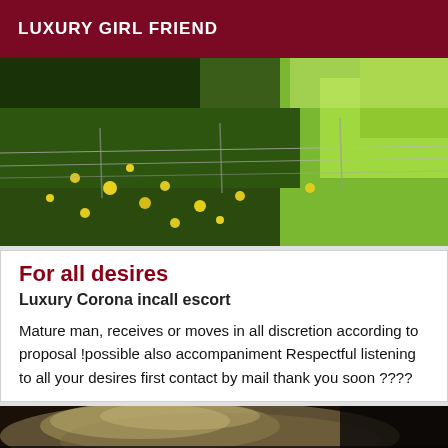LUXURY GIRL FRIEND
[Figure (photo): Outdoor photo of green vegetation, weeds, yellow wildflowers, and a wire fence with bright sunlit grass in the background.]
For all desires
Luxury Corona incall escort
Mature man, receives or moves in all discretion according to proposal !possible also accompaniment Respectful listening to all your desires first contact by mail thank you soon ????
[Figure (photo): Partial photo showing blurred light-colored hair against a dark background, only top portion visible.]